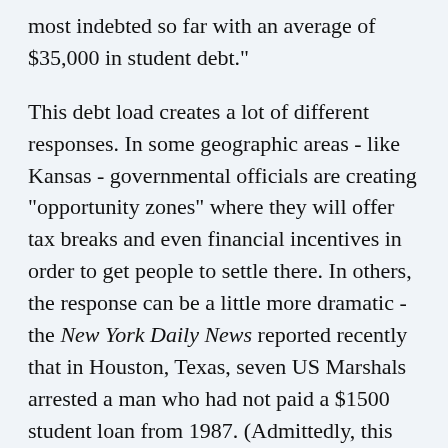And the most recent class of 2015 is the most indebted so far with an average of $35,000 in student debt."
This debt load creates a lot of different responses. In some geographic areas - like Kansas - governmental officials are creating "opportunity zones" where they will offer tax breaks and even financial incentives in order to get people to settle there. In others, the response can be a little more dramatic - the New York Daily News reported recently that in Houston, Texas, seven US Marshals arrested a man who had not paid a $1500 student loan from 1987. (Admittedly, this may be an outlier.)
But I think that the extent of student debt out there, and the crushing impact it may have on young people's ability to buy homes, take vacations, invest in the stock market, have children … well, it could be enormous. And I think that retailers have to start factoring that into their plans and...